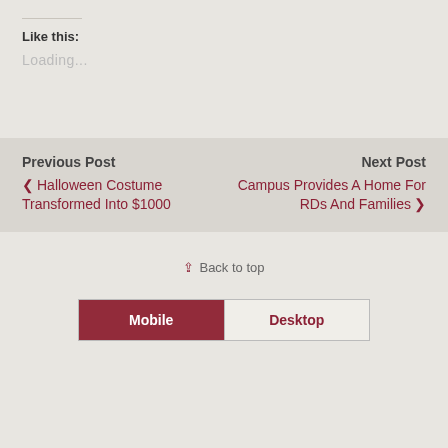Like this:
Loading...
Previous Post
❮ Halloween Costume Transformed Into $1000
Next Post
Campus Provides A Home For RDs And Families ❯
⇪ Back to top
Mobile
Desktop